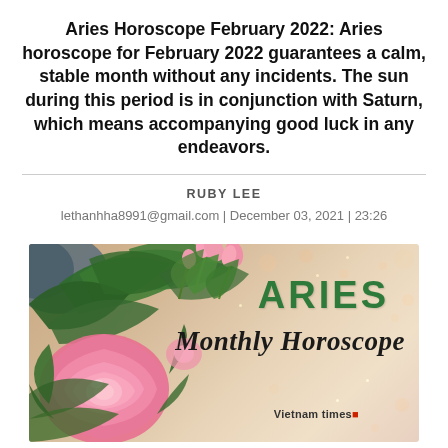Aries Horoscope February 2022: Aries horoscope for February 2022 guarantees a calm, stable month without any incidents. The sun during this period is in conjunction with Saturn, which means accompanying good luck in any endeavors.
RUBY LEE
lethanhha8991@gmail.com | December 03, 2021 | 23:26
[Figure (illustration): Aries Monthly Horoscope banner image featuring pink roses on the left side, with green text reading ARIES and cursive text Monthly Horoscope on a warm wooden/bokeh background. Vietnam times logo at bottom right.]